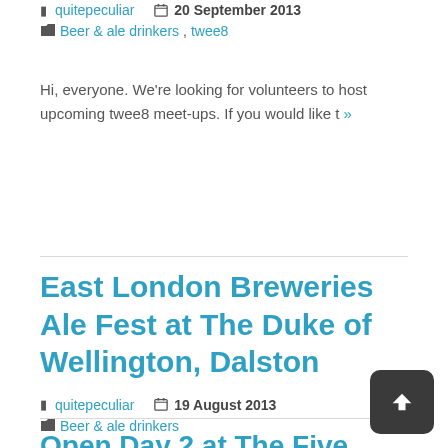quitepeculiar  20 September 2013
Beer & ale drinkers, twee8
Hi, everyone. We're looking for volunteers to host upcoming twee8 meet-ups. If you would like t »
East London Breweries Ale Fest at The Duke of Wellington, Dalston
quitepeculiar  19 August 2013
Beer & ale drinkers
Starting this Thursday, the 22nd of August, »
Open Day 2 at The Five Points Brewing Co.: Saturday, 3 August